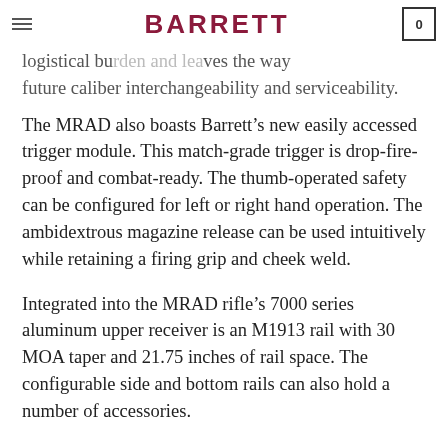BARRETT (logo) | hamburger menu | cart: 0
logistical bu... eaves the way future caliber interchangeability and serviceability.
The MRAD also boasts Barrett’s new easily accessed trigger module. This match-grade trigger is drop-fire-proof and combat-ready. The thumb-operated safety can be configured for left or right hand operation. The ambidextrous magazine release can be used intuitively while retaining a firing grip and cheek weld.
Integrated into the MRAD rifle’s 7000 series aluminum upper receiver is an M1913 rail with 30 MOA taper and 21.75 inches of rail space. The configurable side and bottom rails can also hold a number of accessories.
The MRAD rifle’s stock is foldable for enhanced portability yet locks in as solid as a fixed-stock rifle, creating a rigid platform for consistent firing. When folded, the stock latches